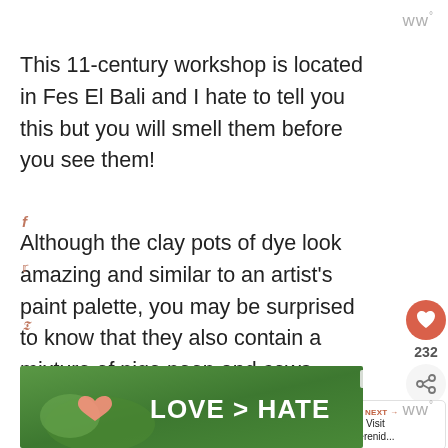ww°
This 11-century workshop is located in Fes El Bali and I hate to tell you this but you will smell them before you see them!
Although the clay pots of dye look amazing and similar to an artist's paint palette, you may be surprised to know that they also contain a mixture of pige poop and cows urine!
[Figure (infographic): Social media share buttons sidebar (Facebook f, Twitter bird, Pinterest P, LinkedIn in, heart/like button with count 232, share icon)]
[Figure (infographic): What's Next panel with thumbnail image and text: How To Visit The Merenid...]
[Figure (photo): Advertisement banner with hands forming a heart shape over green background, text LOVE > HATE with close button]
ww°